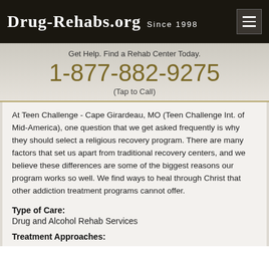Drug-Rehabs.org Since 1998
Get Help. Find a Rehab Center Today.
1-877-882-9275
(Tap to Call)
At Teen Challenge - Cape Girardeau, MO (Teen Challenge Int. of Mid-America), one question that we get asked frequently is why they should select a religious recovery program. There are many factors that set us apart from traditional recovery centers, and we believe these differences are some of the biggest reasons our program works so well. We find ways to heal through Christ that other addiction treatment programs cannot offer.
Type of Care:
Drug and Alcohol Rehab Services
Treatment Approaches: